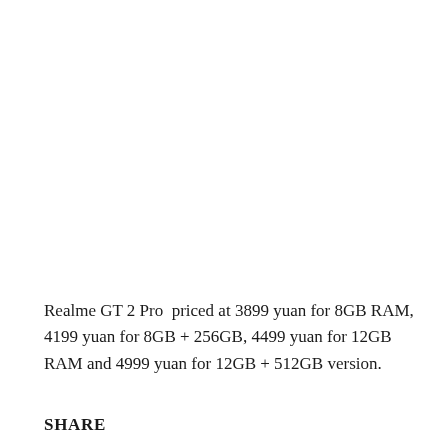Realme GT 2 Pro  priced at 3899 yuan for 8GB RAM, 4199 yuan for 8GB + 256GB, 4499 yuan for 12GB RAM and 4999 yuan for 12GB + 512GB version.
SHARE